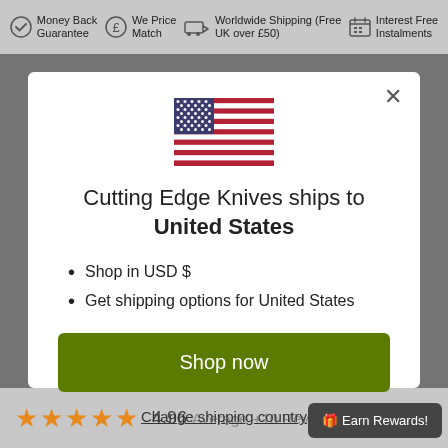Money Back Guarantee   We Price Match   Worldwide Shipping (Free UK over £50)   Interest Free Instalments
[Figure (illustration): US flag emoji/icon displayed in the center of the modal dialog]
Cutting Edge Knives ships to United States
Shop in USD $
Get shipping options for United States
Shop now
Change shipping country
4.96 Average  +10 Reviews
🎁 Earn Rewards!